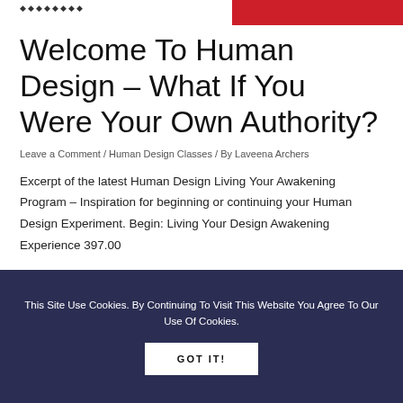MAMAMÁRR [logo text] | [red button]
Welcome To Human Design – What If You Were Your Own Authority?
Leave a Comment / Human Design Classes / By Laveena Archers
Excerpt of the latest Human Design Living Your Awakening Program – Inspiration for beginning or continuing your Human Design Experiment. Begin: Living Your Design Awakening Experience 397.00
This Site Use Cookies. By Continuing To Visit This Website You Agree To Our Use Of Cookies.
GOT IT!